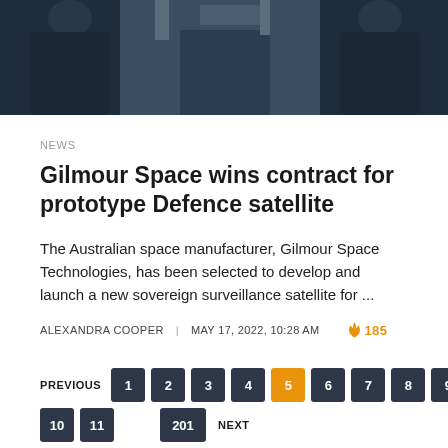[Figure (photo): Dark photo of people in dark clothing viewed from behind, likely at an outdoor/industrial location]
NEWS
Gilmour Space wins contract for prototype Defence satellite
The Australian space manufacturer, Gilmour Space Technologies, has been selected to develop and launch a new sovereign surveillance satellite for ...
ALEXANDRA COOPER | MAY 17, 2022, 10:28 AM 🔥 185
PREVIOUS 1 2 3 4 5 6 7 8 9 10 11 201 NEXT